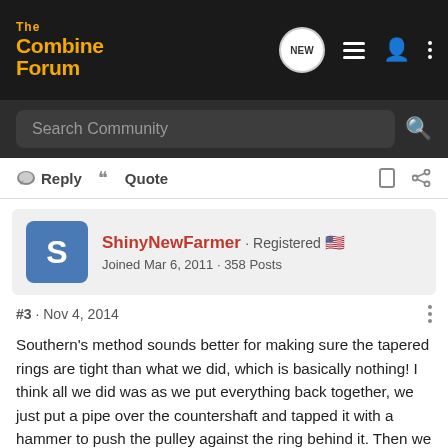[Figure (screenshot): TheCombineForum website navigation bar with logo and icons]
Search Community
Reply   Quote
ShinyNewFarmer · Registered
Joined Mar 6, 2011 · 358 Posts
#3 · Nov 4, 2014
Southern's method sounds better for making sure the tapered rings are tight than what we did, which is basically nothing! I think all we did was as we put everything back together, we just put a pipe over the countershaft and tapped it with a hammer to push the pulley against the ring behind it. Then we just torqued everything up. We also made sure we used new tapered rings. It must have worked as we cut the entire season without any problems.